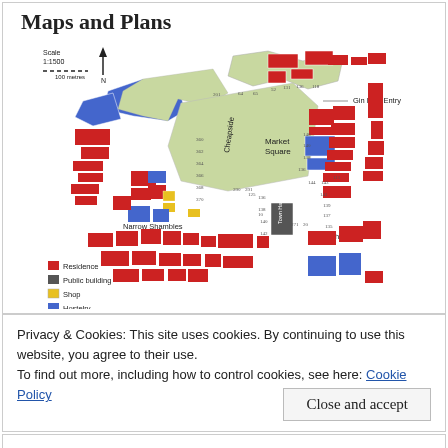Maps and Plans
[Figure (map): Historical map of medieval town showing streets including Cheapside, Market Square, Narrow Shambles, Broad Shambles, Gin Bow Entry, and Town Hall. Buildings color-coded by type: Residence (red), Public building (dark grey), Shop (yellow), Hostelry (blue). Scale 1:1500 with north arrow.]
Privacy & Cookies: This site uses cookies. By continuing to use this website, you agree to their use.
To find out more, including how to control cookies, see here: Cookie Policy
Close and accept